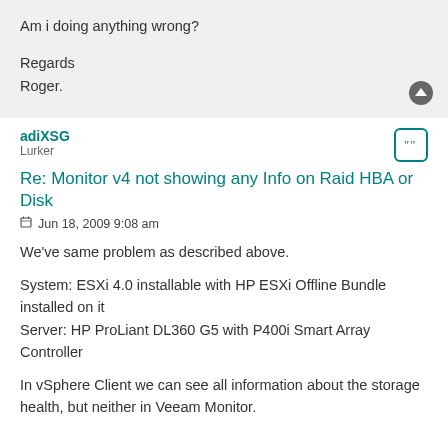Am i doing anything wrong?
Regards
Roger.
adiXSG
Lurker
Re: Monitor v4 not showing any Info on Raid HBA or Disk
Jun 18, 2009 9:08 am
We've same problem as described above.
System: ESXi 4.0 installable with HP ESXi Offline Bundle installed on it
Server: HP ProLiant DL360 G5 with P400i Smart Array Controller
In vSphere Client we can see all information about the storage health, but neither in Veeam Monitor.